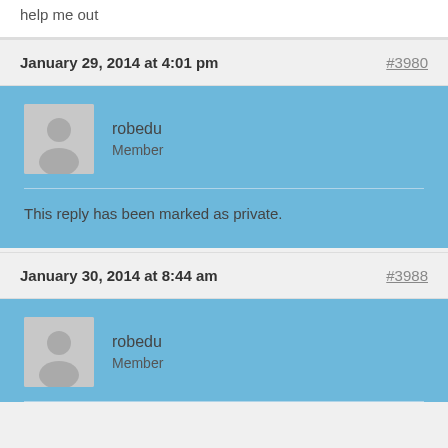help me out
January 29, 2014 at 4:01 pm #3980
robedu
Member
This reply has been marked as private.
January 30, 2014 at 8:44 am #3988
robedu
Member